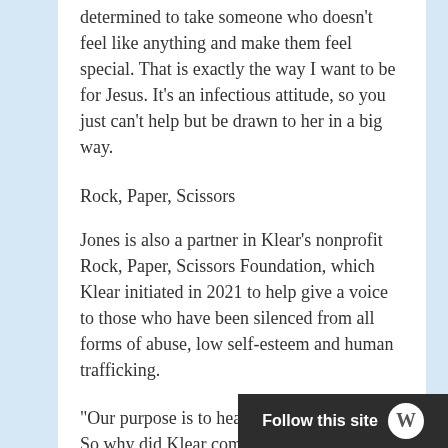determined to take someone who doesn't feel like anything and make them feel special. That is exactly the way I want to be for Jesus. It's an infectious attitude, so you just can't help but be drawn to her in a big way.
Rock, Paper, Scissors
Jones is also a partner in Klear's nonprofit Rock, Paper, Scissors Foundation, which Klear initiated in 2021 to help give a voice to those who have been silenced from all forms of abuse, low self-esteem and human trafficking.
“Our purpose is to heal,” is the RPS vision. So why did Klear come up with the unique name? She explains it in a single sentence:
“Rock is for no matter what you